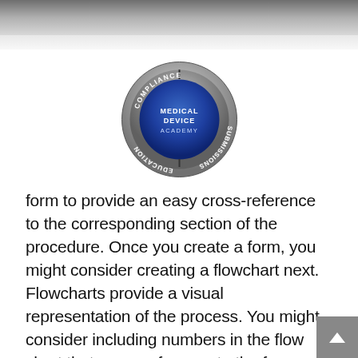[Figure (logo): Medical Device Academy circular logo with COMPLIANCE at top, EDUCATION at left, SUBMISSIONS at right, and MEDICAL DEVICE ACADEMY in blue center]
form to provide an easy cross-reference to the corresponding section of the procedure. Once you create a form, you might consider creating a flowchart next. Flowcharts provide a visual representation of the process. You might consider including numbers in the flow chart that cross-reference to the form as well.
Once you have created a form and a flowchart, you are now ready to write your quality system